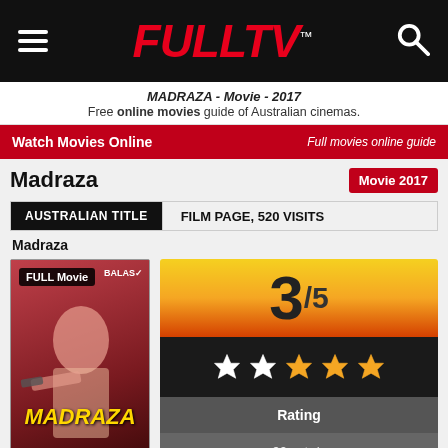FULLTV
MADRAZA - Movie - 2017
Free online movies guide of Australian cinemas.
Watch Movies Online — Full movies online guide
Madraza
Movie 2017
AUSTRALIAN TITLE
FILM PAGE, 520 VISITS
Madraza
[Figure (photo): Movie poster for Madraza (2017) showing a woman holding a gun, with the MADRAZA title logo in yellow at the bottom and BALAS label in top right. FULL Movie badge in top left.]
[Figure (infographic): Rating display showing 3/5 score in large text on orange-yellow gradient background, followed by 5 stars (2 white, 3 gold) on black background, then Rating label on grey, then 90 vote/s on darker grey.]
Rating
90 vote/s